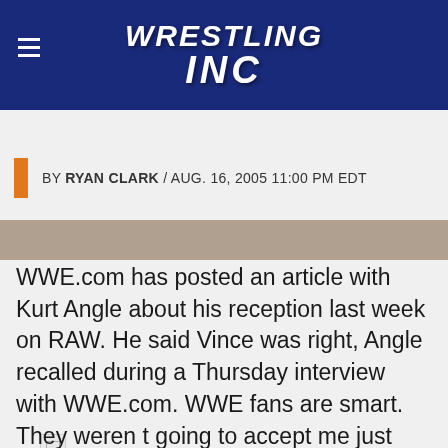WRESTLING INC
[Figure (photo): Photo strip at top of article page]
BY RYAN CLARK / AUG. 16, 2005 11:00 PM EDT
[Figure (photo): Broken/missing image placeholder]
WWE.com has posted an article with Kurt Angle about his reception last week on RAW. He said Vince was right, Angle recalled during a Thursday interview with WWE.com. WWE fans are smart. They weren t going to accept me just because I won a gold medal. I was a jock and I was invading their world. I had to prove myself. It think it s hard in my hometown for the fans to really dislike me, Angle said. It was kind of a welcome home. It s been a